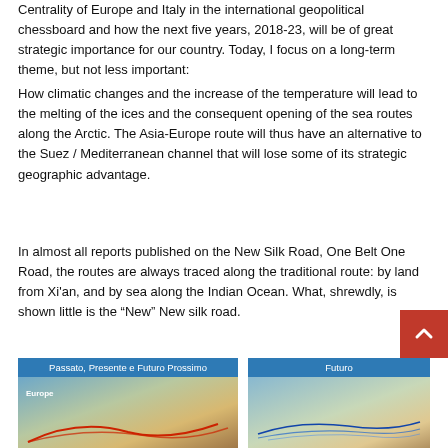Centrality of Europe and Italy in the international geopolitical chessboard and how the next five years, 2018-23, will be of great strategic importance for our country. Today, I focus on a long-term theme, but not less important:
How climatic changes and the increase of the temperature will lead to the melting of the ices and the consequent opening of the sea routes along the Arctic. The Asia-Europe route will thus have an alternative to the Suez / Mediterranean channel that will lose some of its strategic geographic advantage.
In almost all reports published on the New Silk Road, One Belt One Road, the routes are always traced along the traditional route: by land from Xi'an, and by sea along the Indian Ocean. What, shrewdly, is shown little is the “New” New silk road.
[Figure (map): Two side-by-side map images. Left map titled 'Passato, Presente e Futuro Prossimo' showing Europe and Mediterranean trade routes with red arcs. Right map titled 'Futuro' showing Arctic/northern sea routes.]